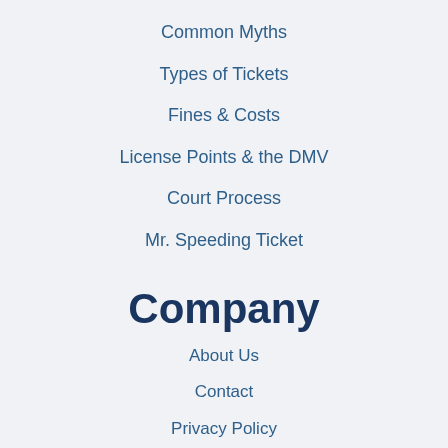Common Myths
Types of Tickets
Fines & Costs
License Points & the DMV
Court Process
Mr. Speeding Ticket
Company
About Us
Contact
Privacy Policy
Reviews